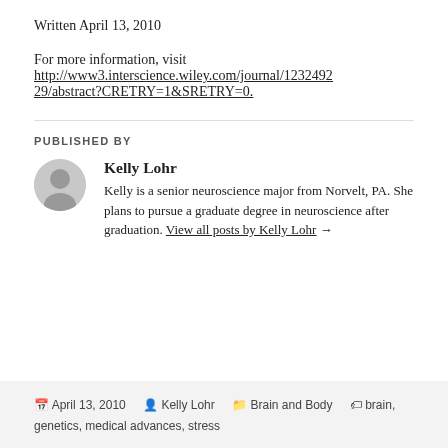Written April 13, 2010
For more information, visit http://www3.interscience.wiley.com/journal/12324922 9/abstract?CRETRY=1&SRETRY=0.
PUBLISHED BY
Kelly Lohr
Kelly is a senior neuroscience major from Norvelt, PA. She plans to pursue a graduate degree in neuroscience after graduation. View all posts by Kelly Lohr →
April 13, 2010   Kelly Lohr   Brain and Body   brain, genetics, medical advances, stress